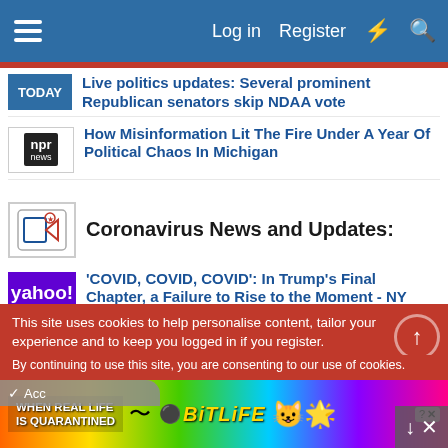Log in  Register
Live politics updates: Several prominent Republican senators skip NDAA vote
How Misinformation Lit The Fire Under A Year Of Political Chaos In Michigan
Coronavirus News and Updates:
'COVID, COVID, COVID': In Trump's Final Chapter, a Failure to Rise to the Moment - NY Times
U.S. COVID-19 cases surpass 20 million as
This site uses cookies to help personalise content, tailor your experience and to keep you logged in if you register.
By continuing to use this site, you are consenting to our use of cookies.
[Figure (screenshot): BitLife advertisement banner: 'WHEN REAL LIFE IS QUARANTINED' with BitLife logo and emoji characters on a rainbow background]